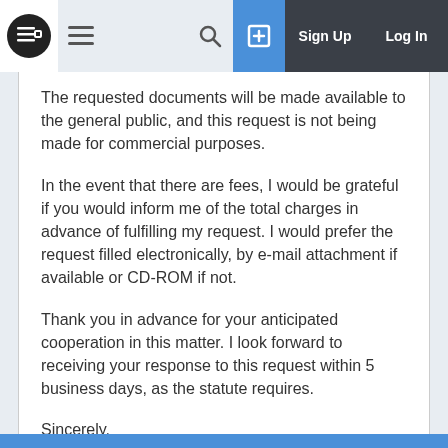Navigation bar with logo, hamburger menu, search, upload, Sign Up, Log In
The requested documents will be made available to the general public, and this request is not being made for commercial purposes.
In the event that there are fees, I would be grateful if you would inform me of the total charges in advance of fulfilling my request. I would prefer the request filled electronically, by e-mail attachment if available or CD-ROM if not.
Thank you in advance for your anticipated cooperation in this matter. I look forward to receiving your response to this request within 5 business days, as the statute requires.
Sincerely,
Matt Brown